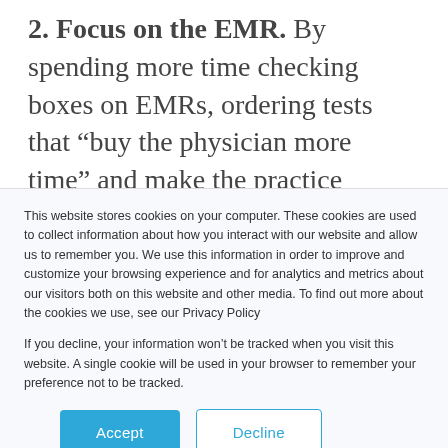2. Focus on the EMR. By spending more time checking boxes on EMRs, ordering tests that “buy the physician more time” and make the practice money, and writing referrals, physicians never foster the doctor-patient relationship. FFS doctors, when primarily focused on EMRs, could
This website stores cookies on your computer. These cookies are used to collect information about how you interact with our website and allow us to remember you. We use this information in order to improve and customize your browsing experience and for analytics and metrics about our visitors both on this website and other media. To find out more about the cookies we use, see our Privacy Policy

If you decline, your information won’t be tracked when you visit this website. A single cookie will be used in your browser to remember your preference not to be tracked.
Accept
Decline